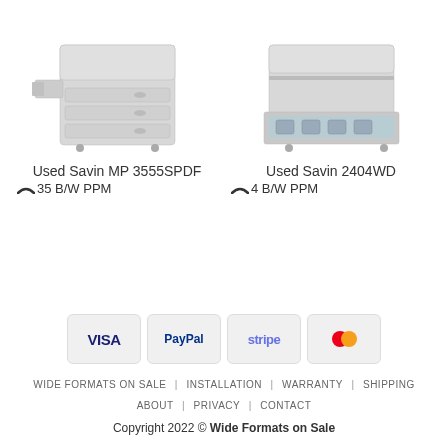[Figure (photo): Used Savin MP 3555SPDF printer image - white multifunction printer with paper trays]
[Figure (photo): Used Savin 2404WD printer image - white wide format printer with open paper drawer]
Used Savin MP 3555SPDF
35 B/W PPM
Used Savin 2404WD
4 B/W PPM
[Figure (other): Payment method badges: VISA, PayPal, stripe, MasterCard]
WIDE FORMATS ON SALE   INSTALLATION   WARRANTY   SHIPPING   ABOUT   PRIVACY   CONTACT
Copyright 2022 © Wide Formats on Sale